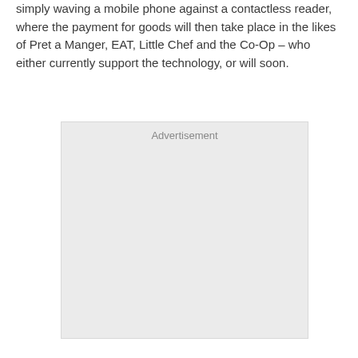simply waving a mobile phone against a contactless reader, where the payment for goods will then take place in the likes of Pret a Manger, EAT, Little Chef and the Co-Op – who either currently support the technology, or will soon.
[Figure (other): Advertisement placeholder box with light grey background and the label 'Advertisement' centered at the top.]